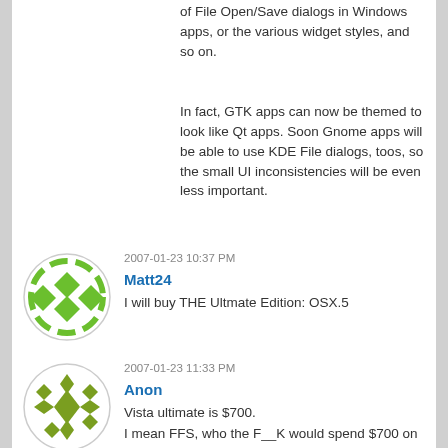of File Open/Save dialogs in Windows apps, or the various widget styles, and so on.
In fact, GTK apps can now be themed to look like Qt apps. Soon Gnome apps will be able to use KDE File dialogs, toos, so the small UI inconsistencies will be even less important.
2007-01-23 10:37 PM
Matt24
I will buy THE Ultmate Edition: OSX.5
2007-01-23 11:33 PM
Anon
Vista ultimate is $700.
I mean FFS, who the F__K would spend $700 on a desktop OS? They need a right